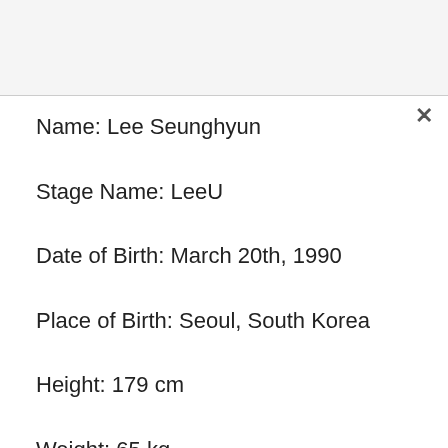Name: Lee Seunghyun
Stage Name: LeeU
Date of Birth: March 20th, 1990
Place of Birth: Seoul, South Korea
Height: 179 cm
Weight: 65 kg
Blood Type: A